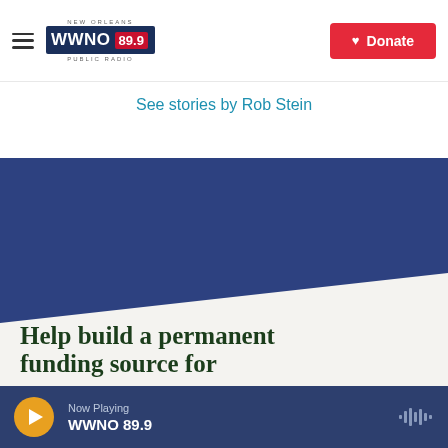WWNO 89.9 New Orleans Public Radio — Donate
See stories by Rob Stein
[Figure (illustration): Dark blue and white angled banner with text: Help build a permanent funding source for WWNO's local news reporting.]
Now Playing WWNO 89.9